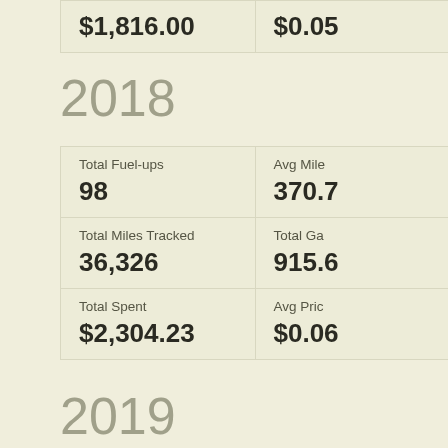| Total Spent | Avg Price |
| --- | --- |
| $1,816.00 | $0.05 |
2018
| Total Fuel-ups | Avg Miles | Total Miles Tracked | Total Gallons | Total Spent | Avg Price |
| --- | --- | --- | --- | --- | --- |
| 98 | 370.7 | 36,326 | 915.6 | $2,304.23 | $0.06 |
2019
| Total Fuel-ups | Avg Miles | Total Miles Tracked | Total Gallons |
| --- | --- | --- | --- |
| 84 | 367.5 | 30,007 | 700 |